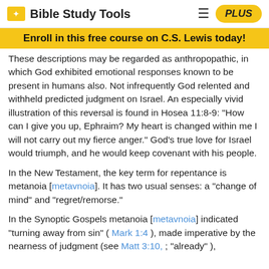Bible Study Tools | PLUS
Enroll in this free course on C.S. Lewis today!
These descriptions may be regarded as anthropopathic, in which God exhibited emotional responses known to be present in humans also. Not infrequently God relented and withheld predicted judgment on Israel. An especially vivid illustration of this reversal is found in Hosea 11:8-9: "How can I give you up, Ephraim? My heart is changed within me I will not carry out my fierce anger." God's true love for Israel would triumph, and he would keep covenant with his people.
In the New Testament, the key term for repentance is metanoia [metavnoia]. It has two usual senses: a "change of mind" and "regret/remorse."
In the Synoptic Gospels metanoia [metavnoia] indicated "turning away from sin" ( Mark 1:4 ), made imperative by the nearness of judgment (see Matt 3:10, ; "already" ),